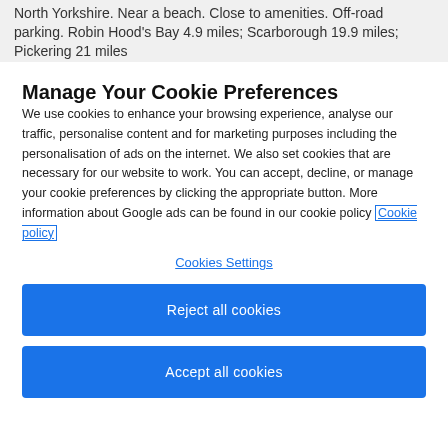North Yorkshire. Near a beach. Close to amenities. Off-road parking. Robin Hood's Bay 4.9 miles; Scarborough 19.9 miles; Pickering 21 miles
Manage Your Cookie Preferences
We use cookies to enhance your browsing experience, analyse our traffic, personalise content and for marketing purposes including the personalisation of ads on the internet. We also set cookies that are necessary for our website to work. You can accept, decline, or manage your cookie preferences by clicking the appropriate button. More information about Google ads can be found in our cookie policy Cookie policy
Cookies Settings
Reject all cookies
Accept all cookies